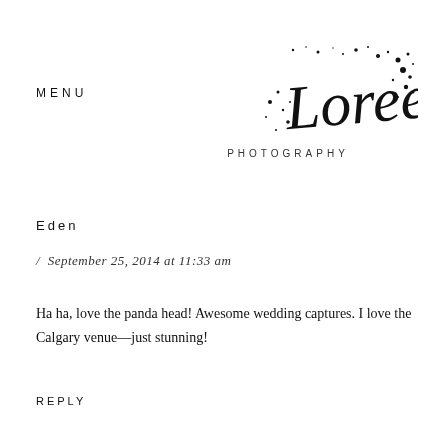MENU
[Figure (logo): Loree Photography script logo with ink splatter dots]
Eden
/ September 25, 2014 at 11:33 am
Ha ha, love the panda head! Awesome wedding captures. I love the Calgary venue—just stunning!
REPLY